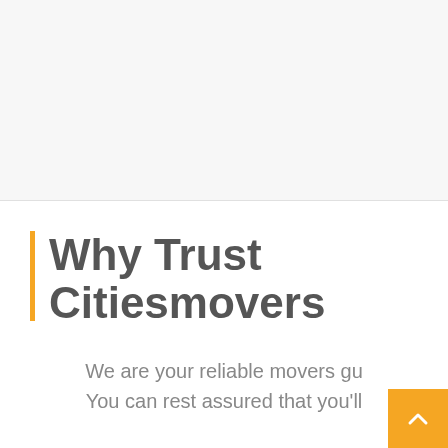Why Trust Citiesmovers
We are your reliable movers gu... You can rest assured that you'll